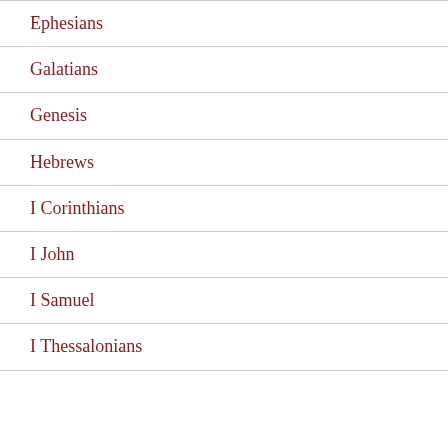Ephesians
Galatians
Genesis
Hebrews
I Corinthians
I John
I Samuel
I Thessalonians